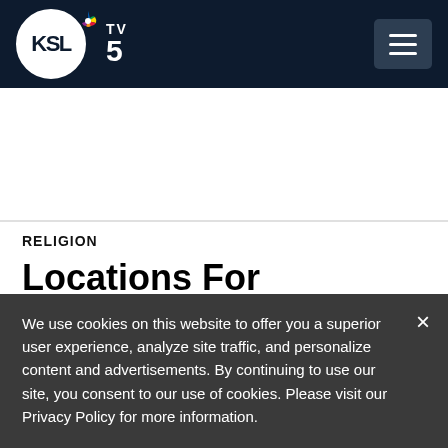KSL TV 5 NBC — navigation header with hamburger menu
RELIGION
Locations For Smithfield, Two Other Temples Announced
We use cookies on this website to offer you a superior user experience, analyze site traffic, and personalize content and advertisements. By continuing to use our site, you consent to our use of cookies. Please visit our Privacy Policy for more information.